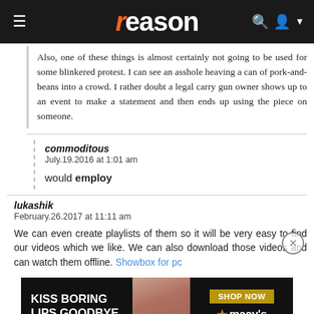reason
Also, one of these things is almost certainly not going to be used for some blinkered protest. I can see an asshole heaving a can of pork-and-beans into a crowd. I rather doubt a legal carry gun owner shows up to an event to make a statement and then ends up using the piece on someone.
commoditous
July.19.2016 at 1:01 am

would employ
lukashik
February.26.2017 at 11:11 am

We can even create playlists of them so it will be very easy to find our videos which we like. We can also download those videos and can watch them offline. Showbox for pc
[Figure (photo): Macy's advertisement banner: 'KISS BORING LIPS GOODBYE' with SHOP NOW button and Macy's logo with star]